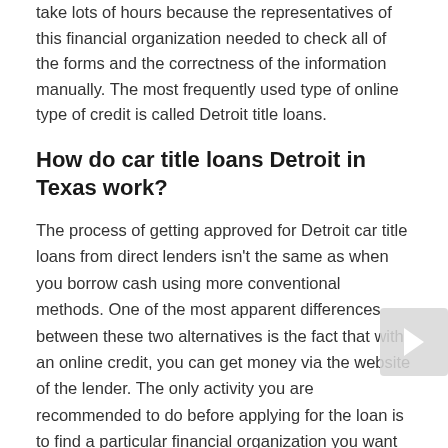take lots of hours because the representatives of this financial organization needed to check all of the forms and the correctness of the information manually. The most frequently used type of online type of credit is called Detroit title loans.
How do car title loans Detroit in Texas work?
The process of getting approved for Detroit car title loans from direct lenders isn't the same as when you borrow cash using more conventional methods. One of the most apparent differences between these two alternatives is the fact that with an online credit, you can get money via the website of the lender. The only activity you are recommended to do before applying for the loan is to find a particular financial organization you want to cooperate with. In this case, you should pay attention to different factors, including:
When was founded the company? If this is a new lender,